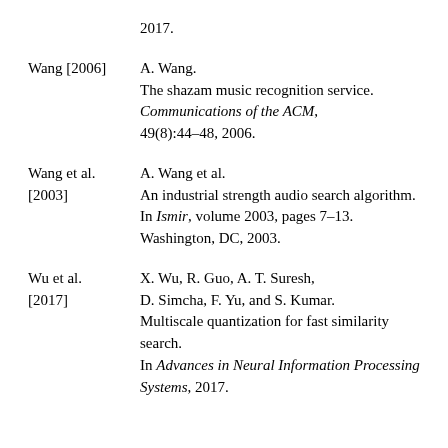2017.
Wang [2006] — A. Wang. The shazam music recognition service. Communications of the ACM, 49(8):44–48, 2006.
Wang et al. [2003] — A. Wang et al. An industrial strength audio search algorithm. In Ismir, volume 2003, pages 7–13. Washington, DC, 2003.
Wu et al. [2017] — X. Wu, R. Guo, A. T. Suresh, D. Simcha, F. Yu, and S. Kumar. Multiscale quantization for fast similarity search. In Advances in Neural Information Processing Systems, 2017.